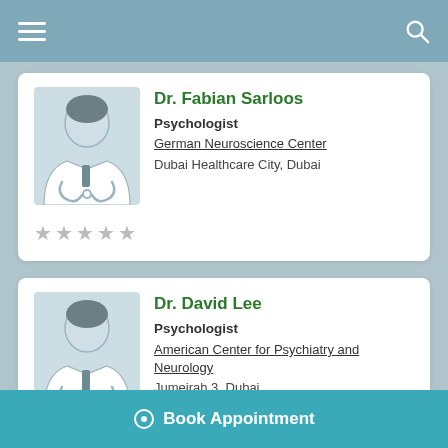[Figure (screenshot): Mobile app top navigation bar with hamburger menu and search icon]
Dr. Fabian Sarloos
Psychologist
German Neuroscience Center
Dubai Healthcare City, Dubai
[Figure (illustration): Generic doctor avatar placeholder for Dr. Fabian Sarloos]
★★★★★
Dr. David Lee
Psychologist
American Center for Psychiatry and Neurology
Jumeirah 3, Dubai
[Figure (illustration): Generic doctor avatar placeholder for Dr. David Lee]
★★★★★
⊙ Book Appointment